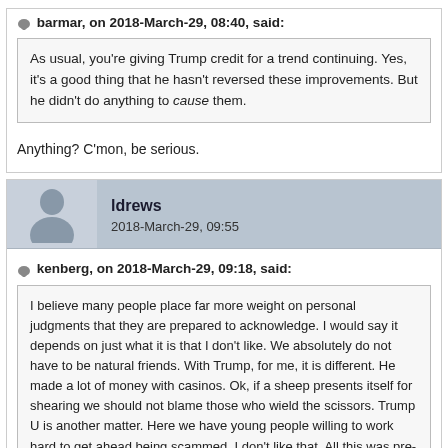barmar, on 2018-March-29, 08:40, said:
As usual, you're giving Trump credit for a trend continuing. Yes, it's a good thing that he hasn't reversed these improvements. But he didn't do anything to cause them.
Anything? C'mon, be serious.
ldrews
2018-March-29, 09:55
kenberg, on 2018-March-29, 09:18, said:
I believe many people place far more weight on personal judgments that they are prepared to acknowledge. I would say it depends on just what it is that I don't like. We absolutely do not have to be natural friends. With Trump, for me, it is different. He made a lot of money with casinos. Ok, if a sheep presents itself for shearing we should not blame those who wield the scissors. Trump U is another matter. Here we have young people willing to work hard to get ahead being scammed. I don't like that. All this was pre-2016 of course. As was his tv show. I never watched it but the